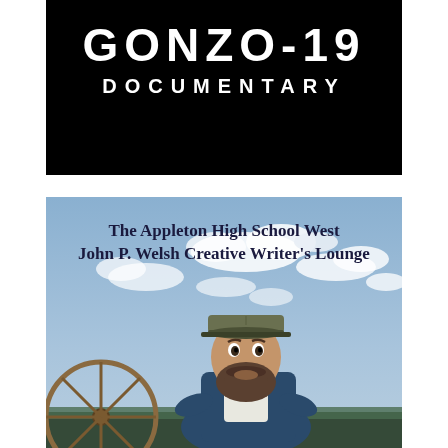GONZO-19 DOCUMENTARY
[Figure (photo): Photo of a bearded man wearing a baseball cap, leaning forward, with a blue cloudy sky background and a wagon wheel visible to the left. Text overlay reads: 'The Appleton High School West John P. Welsh Creative Writer's Lounge']